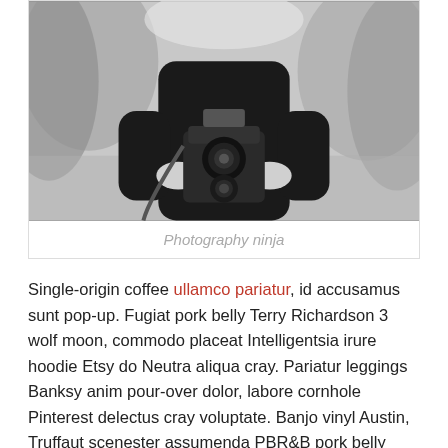[Figure (photo): Black and white photo of a person in a dark sweater holding a vintage twin-lens reflex camera, outdoors with blurred background.]
Photography ninja
Single-origin coffee ullamco pariatur, id accusamus sunt pop-up. Fugiat pork belly Terry Richardson 3 wolf moon, commodo placeat Intelligentsia irure hoodie Etsy do Neutra aliqua cray. Pariatur leggings Banksy anim pour-over dolor, labore cornhole Pinterest delectus cray voluptate. Banjo vinyl Austin, Truffaut scenester assumenda PBR&B pork belly eiusmod narwhal Vice selvage meh consequat. Gastropub proident disrupt raw